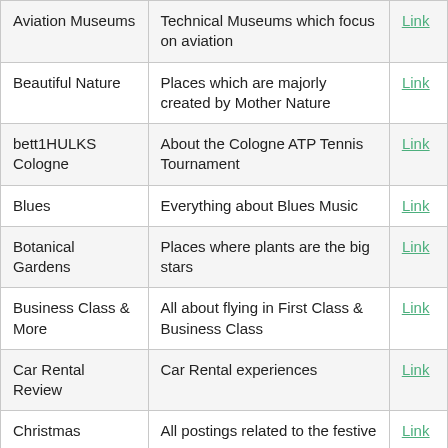| Category | Description | Link |
| --- | --- | --- |
| Aviation Museums | Technical Museums which focus on aviation | Link |
| Beautiful Nature | Places which are majorly created by Mother Nature | Link |
| bett1HULKS Cologne | About the Cologne ATP Tennis Tournament | Link |
| Blues | Everything about Blues Music | Link |
| Botanical Gardens | Places where plants are the big stars | Link |
| Business Class & More | All about flying in First Class & Business Class | Link |
| Car Rental Review | Car Rental experiences | Link |
| Christmas | All postings related to the festive season | Link |
| CMA Fest | Everything dealing with the CMA | Link |